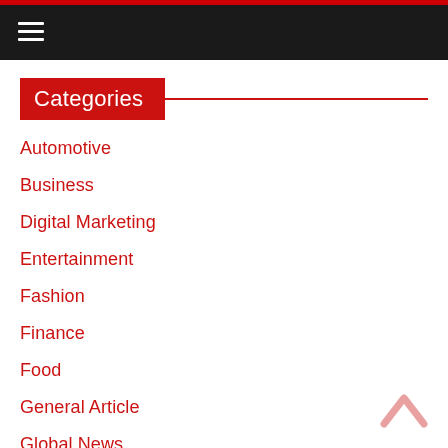≡
Categories
Automotive
Business
Digital Marketing
Entertainment
Fashion
Finance
Food
General Article
Global News
Health
Home